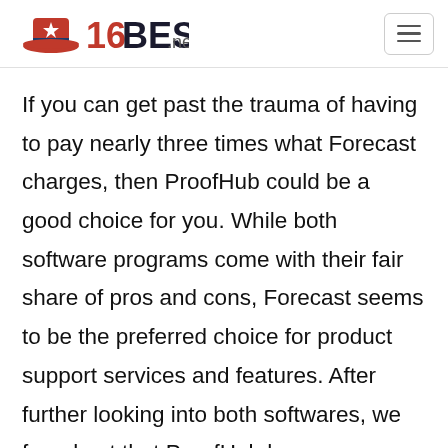16BEST.net
If you can get past the trauma of having to pay nearly three times what Forecast charges, then ProofHub could be a good choice for you. While both software programs come with their fair share of pros and cons, Forecast seems to be the preferred choice for product support services and features. After further looking into both softwares, we found out that ProofHub has a more trouble-free setup. On the other hand, Forecast is easier to manage. While the basis (lite) version of Forecast…